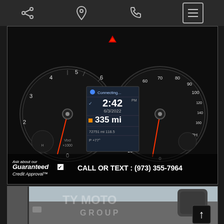Navigation bar with share, location, phone, and menu icons
[Figure (photo): Audi vehicle dashboard/instrument cluster showing tachometer on left, digital display in center showing time 2:42 PM, date 6/3/2022, range 335 mi, odometer 72751 mi, temperature 118.5, gear P, -77°F outside temp, and speedometer on right showing MPH. Red indicator light at top. Overlay text: Ask about our Guaranteed Credit Approval and CALL OR TEXT: (973) 355-7964]
[Figure (photo): Interior of a car showing the dashboard from driver perspective with motor group logo watermark visible. Up arrow navigation button in bottom right corner.]